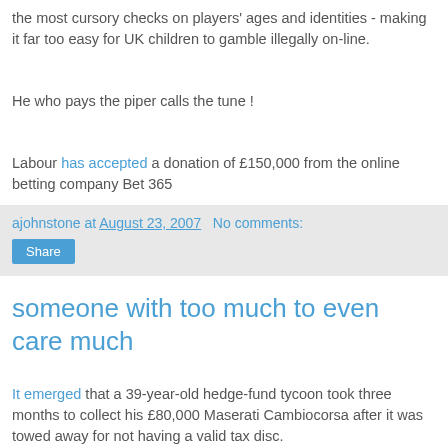the most cursory checks on players' ages and identities - making it far too easy for UK children to gamble illegally on-line.
He who pays the piper calls the tune !
Labour has accepted a donation of £150,000 from the online betting company Bet 365
ajohnstone at August 23, 2007   No comments:
Share
someone with too much to even care much
It emerged that a 39-year-old hedge-fund tycoon took three months to collect his £80,000 Maserati Cambiocorsa after it was towed away for not having a valid tax disc.